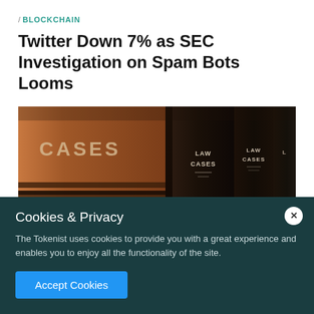/ BLOCKCHAIN
Twitter Down 7% as SEC Investigation on Spam Bots Looms
[Figure (photo): Close-up photograph of leather-bound law books with spines labeled 'CASES' and 'LAW CASES' in gold lettering, arranged on a shelf in warm sepia tones.]
Cookies & Privacy
The Tokenist uses cookies to provide you with a great experience and enables you to enjoy all the functionality of the site.
Accept Cookies